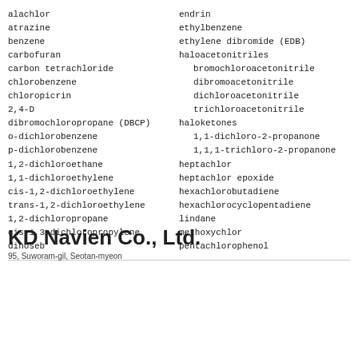alachlor
atrazine
benzene
carbofuran
carbon tetrachloride
chlorobenzene
chloropicrin
2,4-D
dibromochloropropane (DBCP)
o-dichlorobenzene
p-dichlorobenzene
1,2-dichloroethane
1,1-dichloroethylene
cis-1,2-dichloroethylene
trans-1,2-dichloroethylene
1,2-dichloropropane
cis-1,3-dichloropropylene
dinoseb
endrin
ethylbenzene
ethylene dibromide (EDB)
haloacetonitriles
bromochloroacetonitrile
dibromoacetonitrile
dichloroacetonitrile
trichloroacetonitrile
haloketones
1,1-dichloro-2-propanone
1,1,1-trichloro-2-propanone
heptachlor
heptachlor epoxide
hexachlorobutadiene
hexachlorocyclopentadiene
lindane
methoxychlor
pentachlorophenol
KD Navien Co., Ltd.
95, Suworam-gil, Seotan-myeon